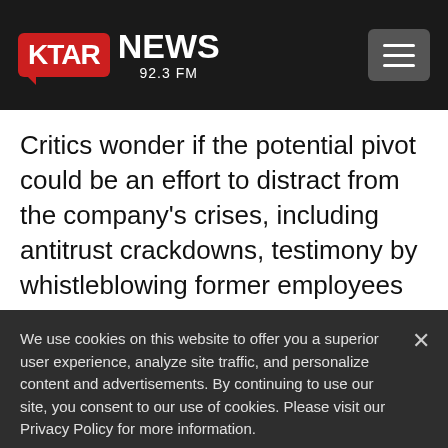KTAR NEWS 92.3 FM
Critics wonder if the potential pivot could be an effort to distract from the company’s crises, including antitrust crackdowns, testimony by whistleblowing former employees and concerns about its handling
We use cookies on this website to offer you a superior user experience, analyze site traffic, and personalize content and advertisements. By continuing to use our site, you consent to our use of cookies. Please visit our Privacy Policy for more information.
Accept Cookies